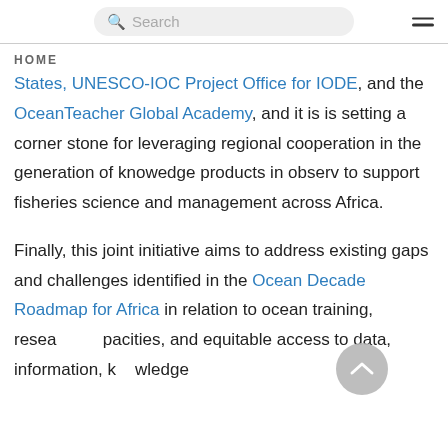Search | HOME
States, UNESCO-IOC Project Office for IODE, and the OceanTeacher Global Academy, and it is is setting a corner stone for leveraging regional cooperation in the generation of knowedge products in observ to support fisheries science and management across Africa.
Finally, this joint initiative aims to address existing gaps and challenges identified in the Ocean Decade Roadmap for Africa in relation to ocean training, research capacities, and equitable access to data, information, knowledge